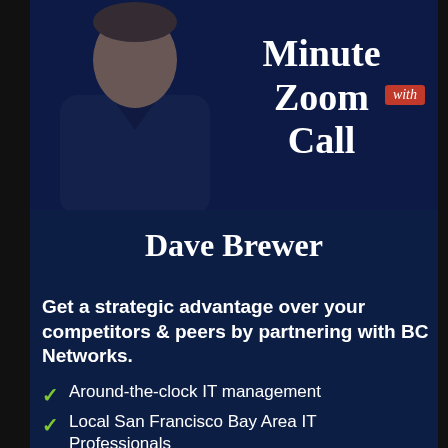[Figure (photo): Portrait photo of Dave Brewer, a man in a dark shirt, set against a dark navy blue background]
Minute Zoom Call with
Dave Brewer
Get a strategic advantage over your competitors & peers by partnering with BC Networks.
Around-the-clock IT management
Local San Francisco Bay Area IT Professionals